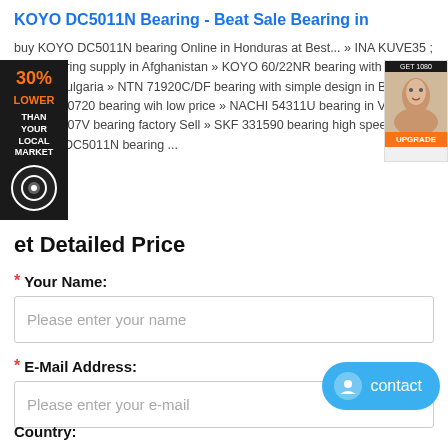KOYO DC5011N Bearing - Beat Sale Bearing in
buy KOYO DC5011N bearing Online in Honduras at Best... » INA KUVE35 ; B ; S bearing supply in Afghanistan » KOYO 60/22NR bearing with cheap price in Bulgaria » NTN 71920C/DF bearing with simple design in Bolivia » NSK 80/80720 bearing wih low price » NACHI 54311U bearing in Vatican » YO NC7007V bearing factory Sell » SKF 331590 bearing high speed low se » KOYO DC5011N bearing ...
Get Detailed Price
* Your Name:
Please enter your name
* E-Mail Address:
Please enter your e-mail
Country: